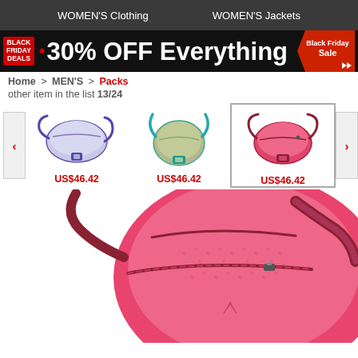WOMEN'S Clothing   WOMEN'S Jackets
[Figure (infographic): Black Friday Deals banner: 30% OFF Everything]
Home > MEN'S > Packs
other item in the list 13/24
[Figure (photo): Product carousel showing three small crossbody/fanny packs: purple, green/teal, and pink (selected). Prices: US$46.42 each.]
[Figure (photo): Large close-up of pink Arc'teryx fanny pack / crossbody bag with dark red zipper and strap]